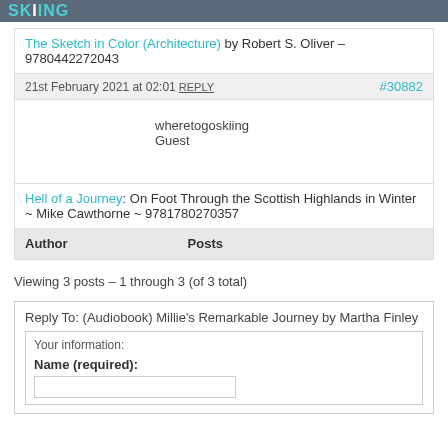SKIING
The Sketch in Color (Architecture) by Robert S. Oliver – 9780442272043
21st February 2021 at 02:01 REPLY #30882
wheretogoskiing
Guest
Hell of a Journey: On Foot Through the Scottish Highlands in Winter ~ Mike Cawthorne ~ 9781780270357
| Author | Posts |
| --- | --- |
Viewing 3 posts – 1 through 3 (of 3 total)
Reply To: (Audiobook) Millie's Remarkable Journey by Martha Finley
Your information:
Name (required):